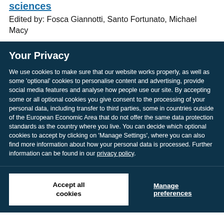sciences
Edited by: Fosca Giannotti, Santo Fortunato, Michael Macy
Your Privacy
We use cookies to make sure that our website works properly, as well as some 'optional' cookies to personalise content and advertising, provide social media features and analyse how people use our site. By accepting some or all optional cookies you give consent to the processing of your personal data, including transfer to third parties, some in countries outside of the European Economic Area that do not offer the same data protection standards as the country where you live. You can decide which optional cookies to accept by clicking on 'Manage Settings', where you can also find more information about how your personal data is processed. Further information can be found in our privacy policy.
Accept all cookies
Manage preferences